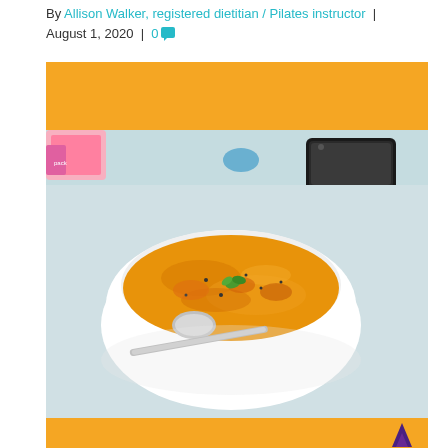By Allison Walker, registered dietitian / Pilates instructor | August 1, 2020 | 0 [comment]
[Figure (photo): A white bowl of orange/yellow soup or curry with a spoon and a small green herb garnish, sitting on a white table surface. A smartphone and colorful package visible in background. Yellow banner bands at top and bottom of image area.]